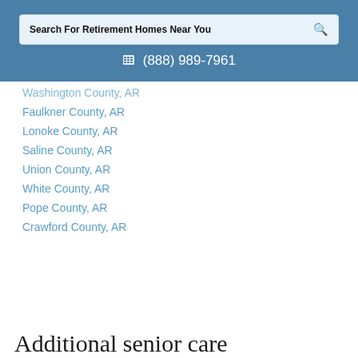Search For Retirement Homes Near You | (888) 989-7961
Washington County, AR
Faulkner County, AR
Lonoke County, AR
Saline County, AR
Union County, AR
White County, AR
Pope County, AR
Crawford County, AR
Additional senior care